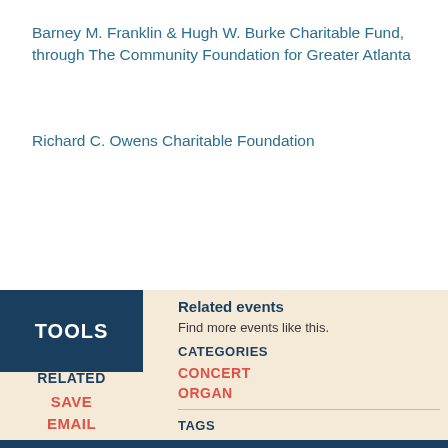Barney M. Franklin & Hugh W. Burke Charitable Fund, through The Community Foundation for Greater Atlanta
Richard C. Owens Charitable Foundation
TOOLS
RELATED
SAVE
EMAIL
SHARE
Related events
Find more events like this.
CATEGORIES
CONCERT
ORGAN
TAGS
ORGAN